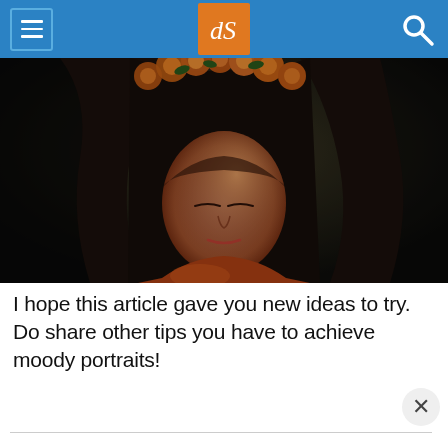dPS logo and navigation header
[Figure (photo): Moody portrait of a woman with long dark hair and orange flower crown, looking downward in dramatic low-key lighting]
I hope this article gave you new ideas to try. Do share other tips you have to achieve moody portraits!